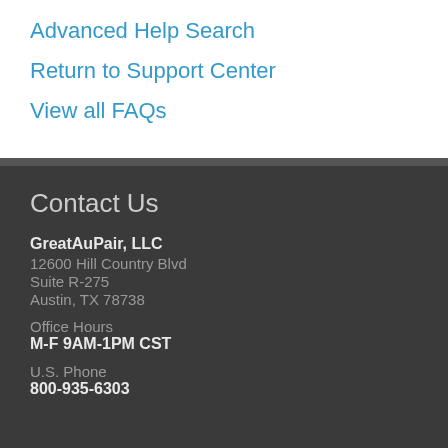Advanced Help Search
Return to Support Center
View all FAQs
Contact Us
GreatAuPair, LLC
12600 Hill Country Blvd
Suite R-275
Austin, TX 78738
Office Hours
M-F 9AM-1PM CST
U.S. Phone
800-935-6303